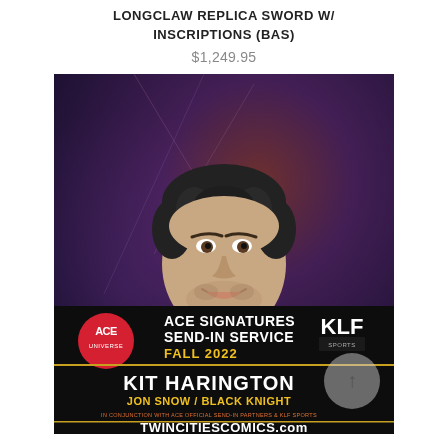LONGCLAW REPLICA SWORD W/ INSCRIPTIONS (BAS)
$1,249.95
[Figure (photo): Promotional photo of Kit Harington with ACE Signatures Send-In Service Fall 2022 branding, showing Kit Harington labeled as Jon Snow / Black Knight, with ACE Universe and KLF Sports logos, and TWINCITIESCOMICS.com website]
* KIT HARINGTON INSCRIPTIONS *